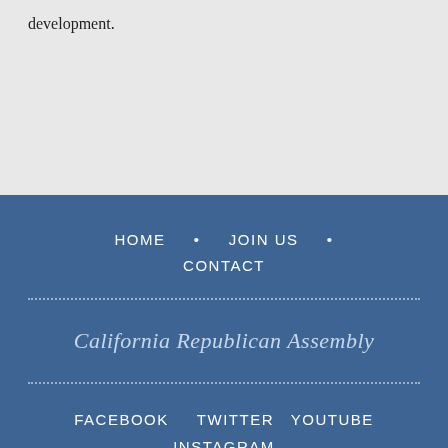development.
HOME • JOIN US • CONTACT
California Republican Assembly
FACEBOOK TWITTER YOUTUBE INSTAGRAM
Powered by Wild Apricot Membership Software